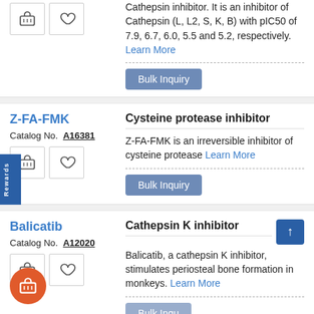Cathepsin inhibitor. It is an inhibitor of Cathepsin (L, L2, S, K, B) with pIC50 of 7.9, 6.7, 6.0, 5.5 and 5.2, respectively. Learn More
Bulk Inquiry
Z-FA-FMK
Catalog No. A16381
Cysteine protease inhibitor
Z-FA-FMK is an irreversible inhibitor of cysteine protease Learn More
Bulk Inquiry
Balicatib
Catalog No. A12020
Cathepsin K inhibitor
Balicatib, a cathepsin K inhibitor, stimulates periosteal bone formation in monkeys. Learn More